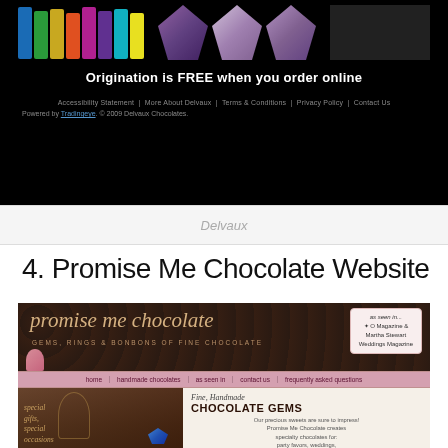[Figure (screenshot): Delvaux Chocolates website screenshot showing product images on black background with text 'Origination is FREE when you order online', footer links and 'Powered by Tradingeye. © 2009 Delvaux Chocolates.']
Delvaux
4. Promise Me Chocolate Website
[Figure (screenshot): Promise Me Chocolate website screenshot showing logo, 'GEMS, RINGS & BONBONS OF FINE CHOCOLATE' tagline, 'As seen in O Magazine & Martha Stewart Weddings Magazine' badge, pink navigation bar, sepia photo of wine glasses with chocolate, and text about Fine Handmade Chocolate Gems for party favors, weddings, special occasions, holidays, wine tastings and gifts.]